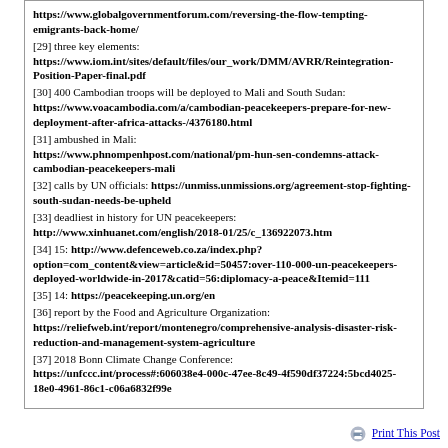https://www.globalgovernmentforum.com/reversing-the-flow-tempting-emigrants-back-home/
[29] three key elements: https://www.iom.int/sites/default/files/our_work/DMM/AVRR/Reintegration-Position-Paper-final.pdf
[30] 400 Cambodian troops will be deployed to Mali and South Sudan: https://www.voacambodia.com/a/cambodian-peacekeepers-prepare-for-new-deployment-after-africa-attacks-/4376180.html
[31] ambushed in Mali: https://www.phnompenhpost.com/national/pm-hun-sen-condemns-attack-cambodian-peacekeepers-mali
[32] calls by UN officials: https://unmiss.unmissions.org/agreement-stop-fighting-south-sudan-needs-be-upheld
[33] deadliest in history for UN peacekeepers: http://www.xinhuanet.com/english/2018-01/25/c_136922073.htm
[34] 15: http://www.defenceweb.co.za/index.php?option=com_content&view=article&id=50457:over-110-000-un-peacekeepers-deployed-worldwide-in-2017&catid=56:diplomacy-a-peace&Itemid=111
[35] 14: https://peacekeeping.un.org/en
[36] report by the Food and Agriculture Organization: https://reliefweb.int/report/montenegro/comprehensive-analysis-disaster-risk-reduction-and-management-system-agriculture
[37] 2018 Bonn Climate Change Conference: https://unfccc.int/process#:606038e4-000c-47ee-8c49-4f590df37224:5bcd4025-18e0-4961-86c1-c06a6832f99e
Print This Post